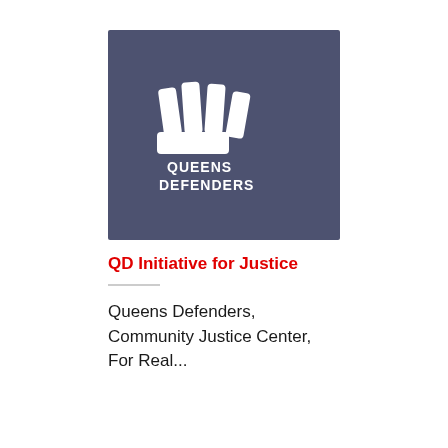[Figure (logo): Queens Defenders logo — dark blue-grey square background with white stylized fist/bar icon and text 'QUEENS DEFENDERS' in white bold capitals]
QD Initiative for Justice
Queens Defenders, Community Justice Center, For Real...